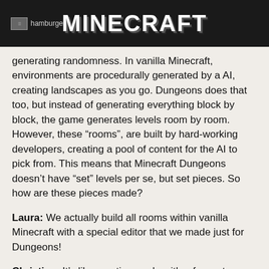hamburger | MINECRAFT
generating randomness. In vanilla Minecraft, environments are procedurally generated by a AI, creating landscapes as you go. Dungeons does that too, but instead of generating everything block by block, the game generates levels room by room. However, these “rooms”, are built by hard-working developers, creating a pool of content for the AI to pick from. This means that Minecraft Dungeons doesn’t have “set” levels per se, but set pieces. So how are these pieces made?
Laura: We actually build all rooms within vanilla Minecraft with a special editor that we made just for Dungeons!
Christian: It’s like creative mode with a few extra tools; we have different sets of brushes and marking tools. For example, if you want to delete a large section, we can select the delete tool, double click, and all the geometry